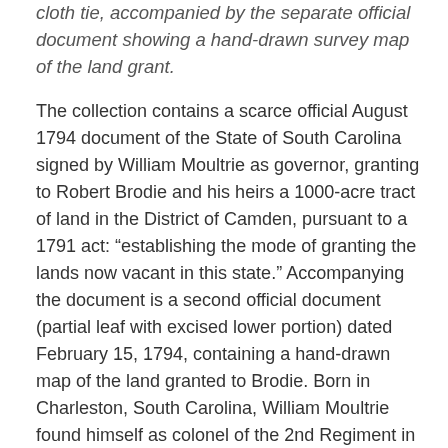cloth tie, accompanied by the separate official document showing a hand-drawn survey map of the land grant.
The collection contains a scarce official August 1794 document of the State of South Carolina signed by William Moultrie as governor, granting to Robert Brodie and his heirs a 1000-acre tract of land in the District of Camden, pursuant to a 1791 act: “establishing the mode of granting the lands now vacant in this state.” Accompanying the document is a second official document (partial leaf with excised lower portion) dated February 15, 1794, containing a hand-drawn map of the land granted to Brodie. Born in Charleston, South Carolina, William Moultrie found himself as colonel of the 2nd Regiment in 1776 defending the Fort on Sullivan’s Island. “Here on June 28, 1776, with 400 men and 31 guns, Moultrie received the attack of the British fleet. His courage and judgment were vindicated… and Moultrie shortly afterward was promoted to brigadier-general in the Continental service… [In 1778] Moultrie saved [Charleston] by a rapid and skilful retreat, and by a determined stand against surrender… [He was] made major-general in October 1782” (ANB). Moultrie served twice as governor of